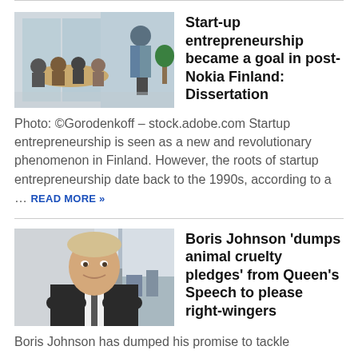[Figure (photo): Office meeting room scene with people around a table and a person standing]
Start-up entrepreneurship became a goal in post-Nokia Finland: Dissertation
Photo: ©Gorodenkoff – stock.adobe.com Startup entrepreneurship is seen as a new and revolutionary phenomenon in Finland. However, the roots of startup entrepreneurship date back to the 1990s, according to a … READ MORE »
[Figure (photo): Portrait of Boris Johnson in a suit, smiling]
Boris Johnson 'dumps animal cruelty pledges' from Queen's Speech to please right-wingers
Boris Johnson has dumped his promise to tackle